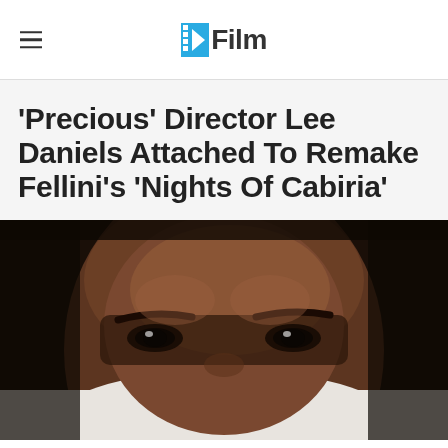/Film
'Precious' Director Lee Daniels Attached To Remake Fellini's 'Nights Of Cabiria'
[Figure (photo): Close-up photo of a Black man with intense eyes wearing a white shirt, looking directly at camera]